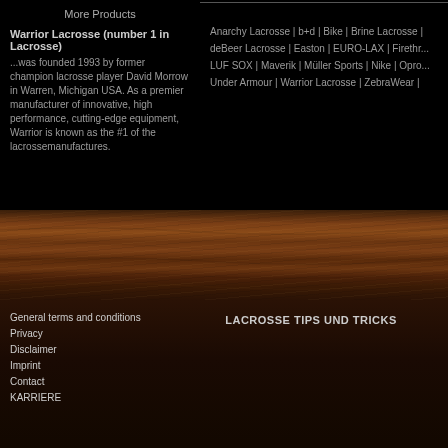More Products
Warrior Lacrosse (number 1 in Lacrosse)
...was founded 1993 by former champion lacrosse player David Morrow in Warren, Michigan USA. As a premier manufacturer of innovative, high performance, cutting-edge equipment, Warrior is known as the #1 of the lacrossemanufactures.
Anarchy Lacrosse | b+d | Bike | Brine Lacrosse | deBeer Lacrosse | Easton | EURO-LAX | Firethr... LUF SOX | Maverik | Müller Sports | Nike | Opro... Under Armour | Warrior Lacrosse | ZebraWear |
[Figure (photo): Wood texture background strip]
General terms and conditions
Privacy
Disclaimer
Imprint
Contact
KARRIERE
LACROSSE TIPS UND TRICKS